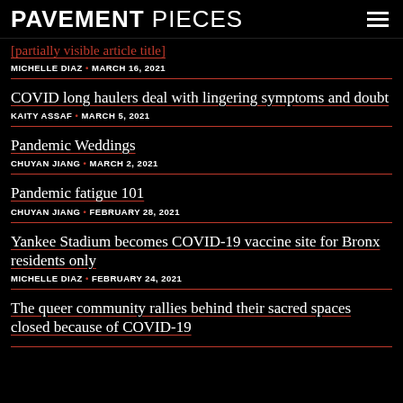PAVEMENT PIECES
[partially visible article title]
COVID long haulers deal with lingering symptoms and doubt
Pandemic Weddings
Pandemic fatigue 101
Yankee Stadium becomes COVID-19 vaccine site for Bronx residents only
The queer community rallies behind their sacred spaces closed because of COVID-19